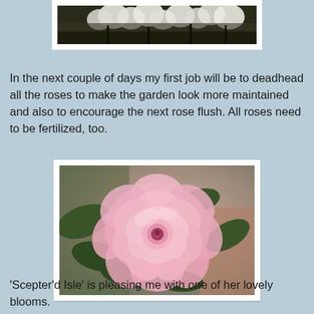[Figure (photo): Partial view of white flowers (possibly daisies or white roses) against a dark background, top portion of image cropped]
In the next couple of days my first job will be to deadhead all the roses to make the garden look more maintained and also to encourage the next rose flush. All roses need to be fertilized, too.
[Figure (photo): Close-up photograph of a pink English rose bloom ('Scepter'd Isle') with multiple layered petals, surrounded by green leaves, against a blurred background]
'Scepter'd Isle' is pleasing me with one of her lovely blooms.